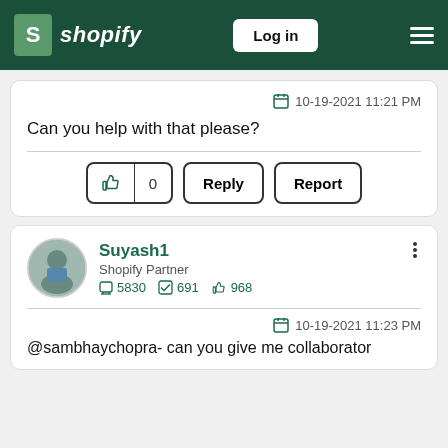[Figure (screenshot): Shopify website header with logo, Log in button, and hamburger menu on dark green background]
10-19-2021 11:21 PM
Can you help with that please?
[Figure (other): Action buttons: thumbs up with count 0, Reply, Report]
[Figure (other): User profile: avatar photo of Suyash1, Shopify Partner, stats: 5830 posts, 691 solutions, 968 likes, three-dot menu]
10-19-2021 11:23 PM
@sambhaychopra- can you give me collaborator